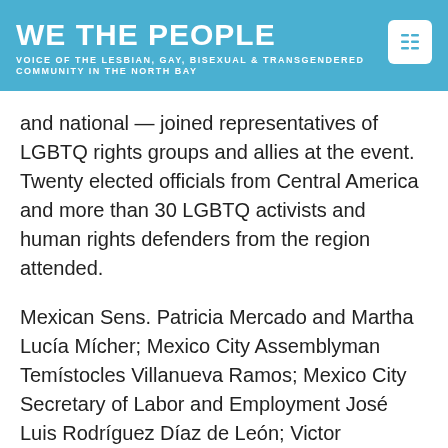WE THE PEOPLE — VOICE OF THE LESBIAN, GAY, BISEXUAL & TRANSGENDERED COMMUNITY IN THE NORTH BAY
and national — joined representatives of LGBTQ rights groups and allies at the event. Twenty elected officials from Central America and more than 30 LGBTQ activists and human rights defenders from the region attended.
Mexican Sens. Patricia Mercado and Martha Lucía Mícher; Mexico City Assemblyman Temístocles Villanueva Ramos; Mexico City Secretary of Labor and Employment José Luis Rodríguez Díaz de León; Victor Madrigal-Borloz, the independent U.N. expert on LGBTQ issues, and Nick Herbert, a member of the British House of Lords who advises Prime Minister Boris Johnson on LGBTQ issues, are among those who spoke at the meeting. Guatemalan Congressman Aldo Dávila, Costa Rican Congressman Enrique Sánchez and Mexico City Assemblywoman Ana...